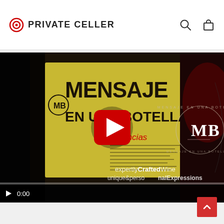PRIVATE CELLER
[Figure (screenshot): Video player showing a wine bottle with 'MENSAJE EN UNA BOTELLA by esencias' label, with a red YouTube play button in the center. Right side shows MB logo with text 'expertly Crafted Wine unique & personal Expressions'. Bottom shows video controls with play button and timestamp 0:00.]